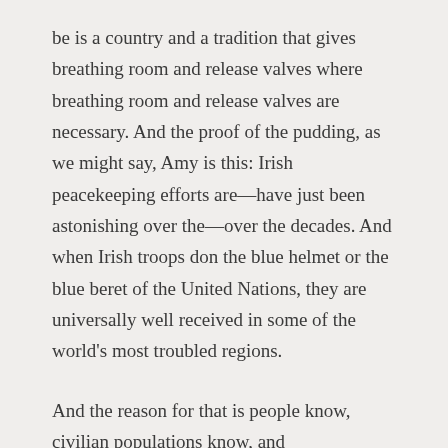be is a country and a tradition that gives breathing room and release valves where breathing room and release valves are necessary. And the proof of the pudding, as we might say, Amy is this: Irish peacekeeping efforts are—have just been astonishing over the—over the decades. And when Irish troops don the blue helmet or the blue beret of the United Nations, they are universally well received in some of the world's most troubled regions.
And the reason for that is people know, civilian populations know, and administrations know that when Ireland comes onto the pitch that we are not part of NATO, that we are not, if you like, aligned or